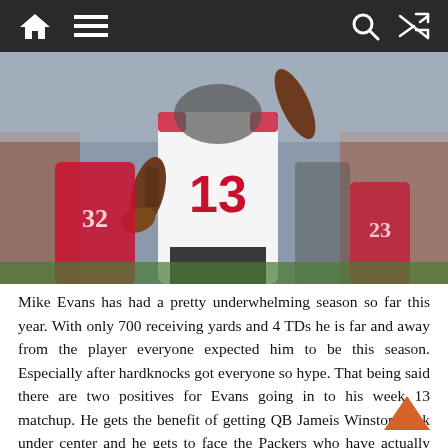Navigation bar with home, menu, search, and shuffle icons
[Figure (photo): Football player wearing jersey number 13 (Tampa Bay Buccaneers white uniform) celebrating on the field, with San Francisco 49ers players and crowd in the background]
Mike Evans has had a pretty underwhelming season so far this year. With only 700 receiving yards and 4 TDs he is far and away from the player everyone expected him to be this season. Especially after hardknocks got everyone so hype. That being said there are two positives for Evans going in to his week 13 matchup. He gets the benefit of getting QB Jameis Winston back under center and he gets to face the Packers who have actually allowed the 4th most fantasy points to opposing